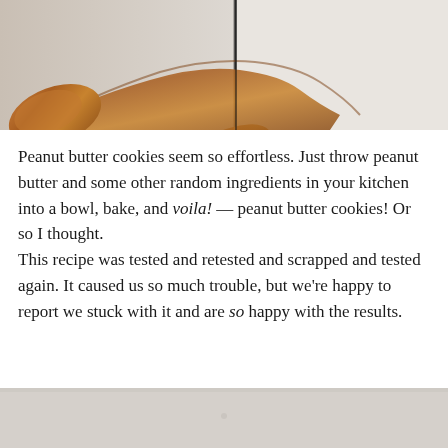[Figure (photo): Close-up photo of a wooden spoon handle on a white/marble surface with a vertical dark line dividing the background.]
Peanut butter cookies seem so effortless. Just throw peanut butter and some other random ingredients in your kitchen into a bowl, bake, and voila! — peanut butter cookies! Or so I thought.
This recipe was tested and retested and scrapped and tested again. It caused us so much trouble, but we're happy to report we stuck with it and are so happy with the results.
[Figure (photo): Partial photo at bottom of page, light grey/beige background, bottom portion of a baking or kitchen scene.]